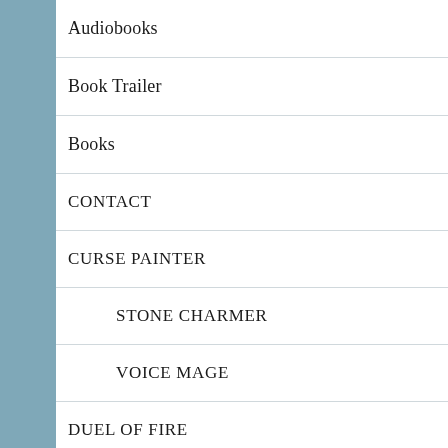Audiobooks
Book Trailer
Books
CONTACT
CURSE PAINTER
STONE CHARMER
VOICE MAGE
DUEL OF FIRE
KING OF MIST